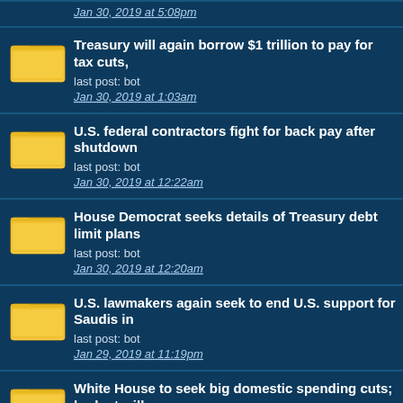Jan 30, 2019 at 5:08pm
Treasury will again borrow $1 trillion to pay for tax cuts,
last post: bot
Jan 30, 2019 at 1:03am
U.S. federal contractors fight for back pay after shutdown
last post: bot
Jan 30, 2019 at 12:22am
House Democrat seeks details of Treasury debt limit plans
last post: bot
Jan 30, 2019 at 12:20am
U.S. lawmakers again seek to end U.S. support for Saudis in
last post: bot
Jan 29, 2019 at 11:19pm
White House to seek big domestic spending cuts; budget will
last post: bot
Jan 29, 2019 at 11:17pm